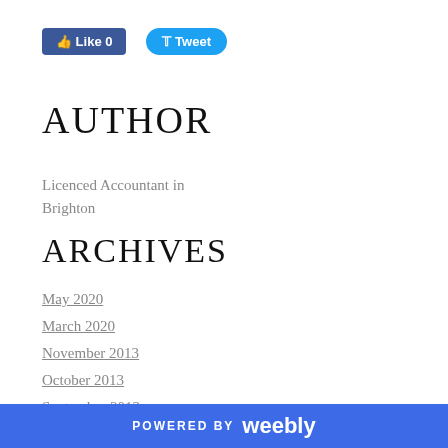[Figure (screenshot): Social media buttons: Facebook Like (0) button and Twitter Tweet button]
AUTHOR
Licenced Accountant in Brighton
ARCHIVES
May 2020
March 2020
November 2013
October 2013
September 2013
August 2013
July 2013
June 2013
May 2013
POWERED BY weebly